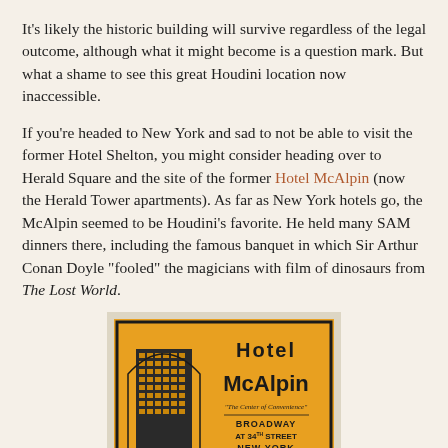It's likely the historic building will survive regardless of the legal outcome, although what it might become is a question mark. But what a shame to see this great Houdini location now inaccessible.
If you're headed to New York and sad to not be able to visit the former Hotel Shelton, you might consider heading over to Herald Square and the site of the former Hotel McAlpin (now the Herald Tower apartments). As far as New York hotels go, the McAlpin seemed to be Houdini's favorite. He held many SAM dinners there, including the famous banquet in which Sir Arthur Conan Doyle "fooled" the magicians with film of dinosaurs from The Lost World.
[Figure (illustration): Vintage Hotel McAlpin advertisement/luggage label showing an Art Deco style illustration of the hotel building on the left, and text on the right reading: Hotel McAlpin, 'The Center of Convenience', Broadway at 34th Street, New York, One Block from Pennsylvania Station. John J. Mcelyle Manager noted at bottom of building illustration. Black border with orange/yellow background.]